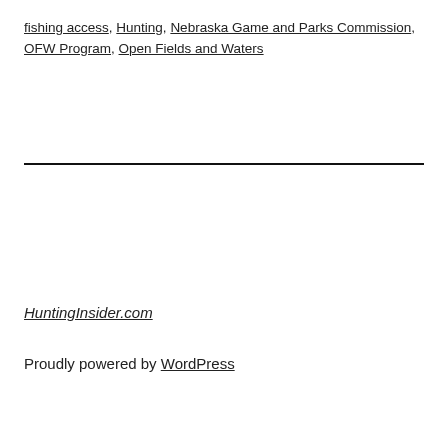fishing access, Hunting, Nebraska Game and Parks Commission, OFW Program, Open Fields and Waters
HuntingInsider.com
Proudly powered by WordPress